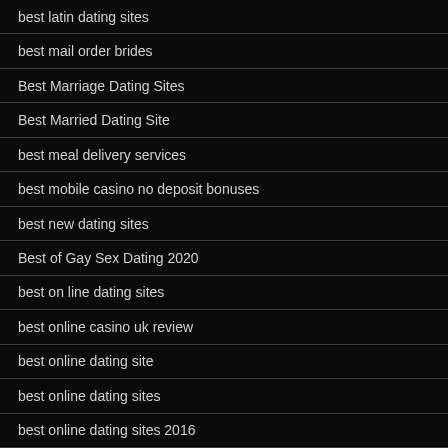best latin dating sites
best mail order brides
Best Marriage Dating Sites
Best Married Dating Site
best meal delivery services
best mobile casino no deposit bonuses
best new dating sites
Best of Gay Sex Dating 2020
best on line dating sites
best online casino uk review
best online dating site
best online dating sites
best online dating sites 2016